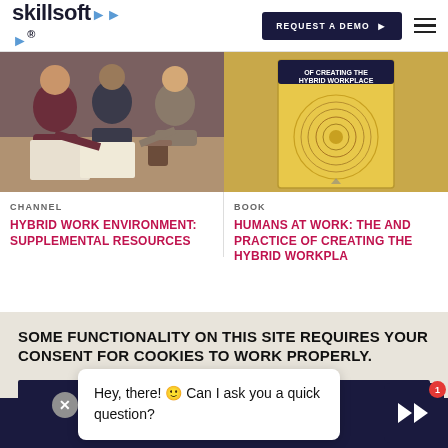skillsoft — REQUEST A DEMO
[Figure (photo): People meeting at a table, writing, with coffee cups — workplace/team setting]
CHANNEL
HYBRID WORK ENVIRONMENT: SUPPLEMENTAL RESOURCES
[Figure (photo): Book cover: 'The Art and Practice of Creating the Hybrid Workplace' on yellow background with circular abstract design]
BOOK
HUMANS AT WORK: THE AND PRACTICE OF CREATING THE HYBRID WORKPLA
SOME FUNCTIONALITY ON THIS SITE REQUIRES YOUR CONSENT FOR COOKIES TO WORK PROPERLY.
I CONSENT TO COOKIES
Hey, there! 🙂 Can I ask you a quick question?